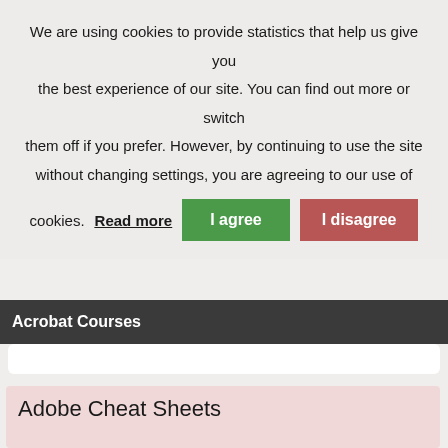We are using cookies to provide statistics that help us give you the best experience of our site. You can find out more or switch them off if you prefer. However, by continuing to use the site without changing settings, you are agreeing to our use of cookies.
Read more
I agree
I disagree
Acrobat Courses
Adobe Cheat Sheets